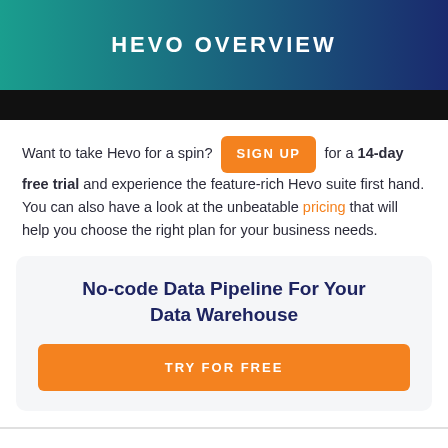[Figure (screenshot): Hevo Overview banner with teal-to-navy gradient background and white bold uppercase text 'HEVO OVERVIEW', with a black bar below]
Want to take Hevo for a spin? SIGN UP for a 14-day free trial and experience the feature-rich Hevo suite first hand. You can also have a look at the unbeatable pricing that will help you choose the right plan for your business needs.
No-code Data Pipeline For Your Data Warehouse
TRY FOR FREE